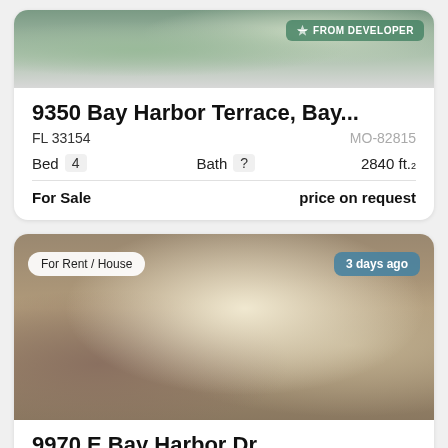[Figure (photo): Exterior photo of building with greenery, badge reading FROM DEVELOPER in top right corner]
9350 Bay Harbor Terrace, Bay...
FL 33154   MO-82815
Bed 4   Bath ?   2840 ft.²
For Sale   price on request
[Figure (photo): Interior photo of a house living room with exposed beam ceiling, sofa, chairs, and large windows. Badges: For Rent / House (top left), 3 days ago (top right)]
9970 E Bay Harbor Dr
Bay Harbor Islands FL 33154   A11257521
Bed 2   Bath 2   1567 ft.²